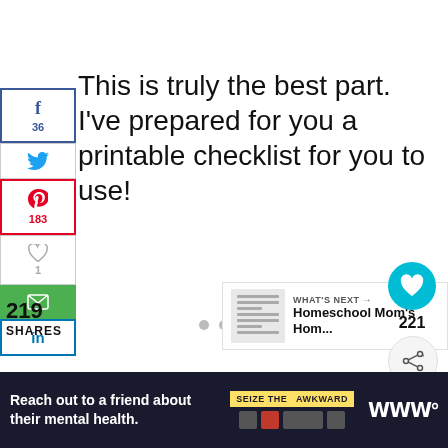This is truly the best part. I've prepared for you a printable checklist for you to use!
[Figure (infographic): Social media share sidebar with Facebook (36), Twitter, Pinterest (183), Heart (1), Email, LinkedIn buttons]
219 SHARES
[Figure (infographic): What's Next panel showing thumbnail and text: Homeschool Mom's Hom...]
[Figure (infographic): Floating heart button showing 221 and share button]
[Figure (infographic): Ad banner: Reach out to a friend about their mental health. Seize the Awkward.]